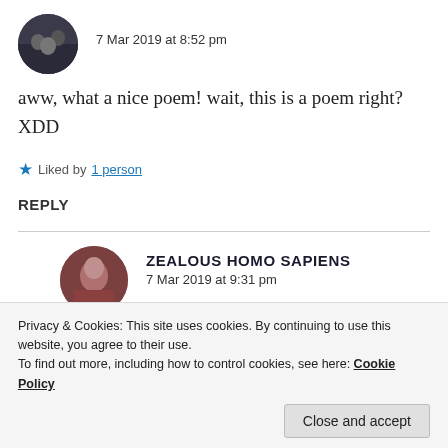7 Mar 2019 at 8:52 pm
aww, what a nice poem! wait, this is a poem right? XDD
Liked by 1 person
REPLY
ZEALOUS HOMO SAPIENS
7 Mar 2019 at 9:31 pm
Privacy & Cookies: This site uses cookies. By continuing to use this website, you agree to their use.
To find out more, including how to control cookies, see here: Cookie Policy
Close and accept
Liked by 1 person